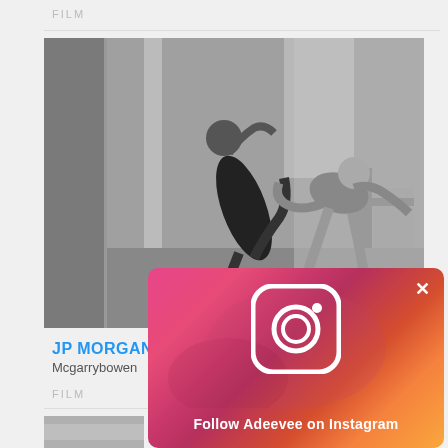FILM
[Figure (photo): Black and white photo of two dancers in a studio, one performing a deep backbend while the other assists]
JP MORGAN
Mcgarrybowen
FILM
[Figure (photo): Partial view of a small photo at the bottom of the page, blurred/out of frame]
[Figure (other): Instagram follow popup overlay with gradient background (pink to orange), Instagram camera logo icon, close X button, and text 'Follow Adeevee on Instagram']